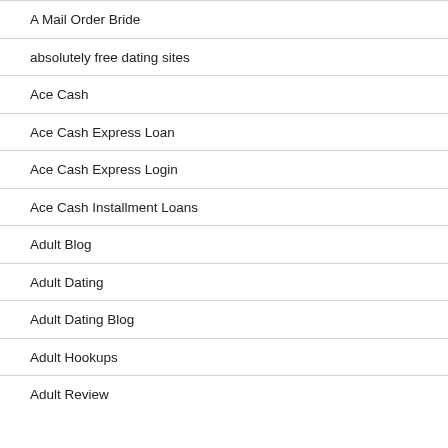A Mail Order Bride
absolutely free dating sites
Ace Cash
Ace Cash Express Loan
Ace Cash Express Login
Ace Cash Installment Loans
Adult Blog
Adult Dating
Adult Dating Blog
Adult Hookups
Adult Review